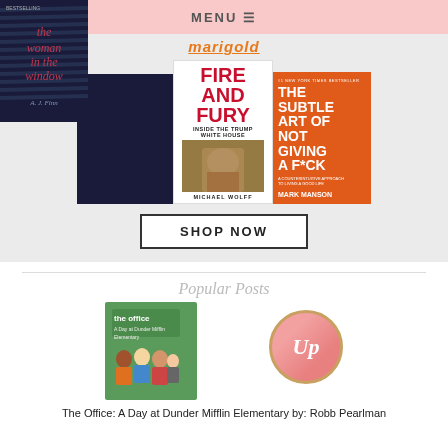MENU ≡
[Figure (illustration): Marigold text heading above three book covers: The Woman in the Window by A.J. Finn, Fire and Fury: Inside the Trump White House by Michael Wolff, and The Subtle Art of Not Giving a F*ck by Mark Manson, displayed on a gray background with a SHOP NOW button below]
Popular Posts
[Figure (illustration): Book cover for The Office: A Day at Dunder Mifflin Elementary, showing cartoon children in a classroom with a green chalkboard]
[Figure (logo): Circular logo with pink/rose background and gold border with cursive 'Up' text]
The Office: A Day at Dunder Mifflin Elementary by: Robb Pearlman